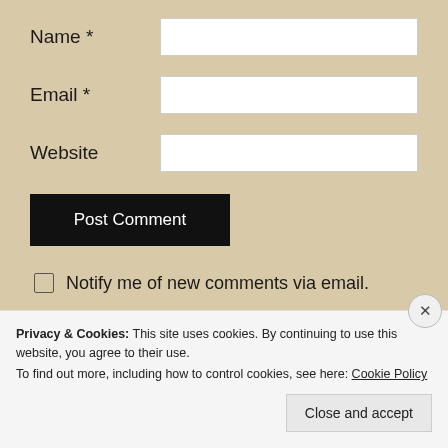Name *
Email *
Website
Post Comment
Notify me of new comments via email.
Notify me of new posts via email.
Privacy & Cookies: This site uses cookies. By continuing to use this website, you agree to their use.
To find out more, including how to control cookies, see here: Cookie Policy
Close and accept